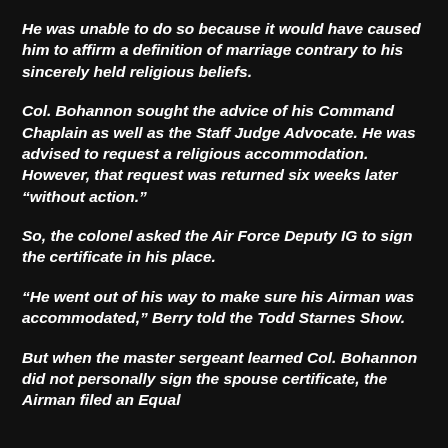He was unable to do so because it would have caused him to affirm a definition of marriage contrary to his sincerely held religious beliefs.
Col. Bohannon sought the advice of his Command Chaplain as well as the Staff Judge Advocate. He was advised to request a religious accommodation. However, that request was returned six weeks later “without action.”
So, the colonel asked the Air Force Deputy IG to sign the certificate in his place.
“He went out of his way to make sure his Airman was accommodated,” Berry told the Todd Starnes Show.
But when the master sergeant learned Col. Bohannon did not personally sign the spouse certificate, the Airman filed an Equal